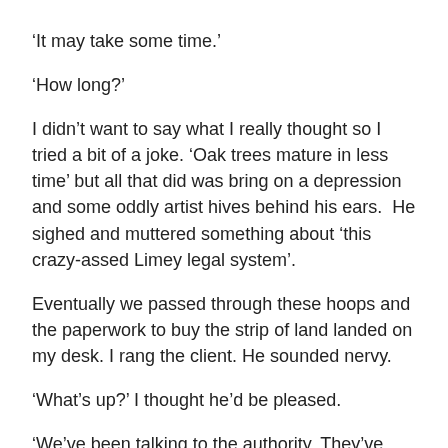‘It may take some time.’
‘How long?’
I didn’t want to say what I really thought so I tried a bit of a joke. ‘Oak trees mature in less time’ but all that did was bring on a depression and some oddly artist hives behind his ears.  He sighed and muttered something about ‘this crazy-assed Limey legal system’.
Eventually we passed through these hoops and the paperwork to buy the strip of land landed on my desk. I rang the client. He sounded nervy.
‘What’s up?’ I thought he’d be pleased.
‘We’ve been talking to the authority. They’ve agreed to extend the barrier (to stop migrating pollution, you will